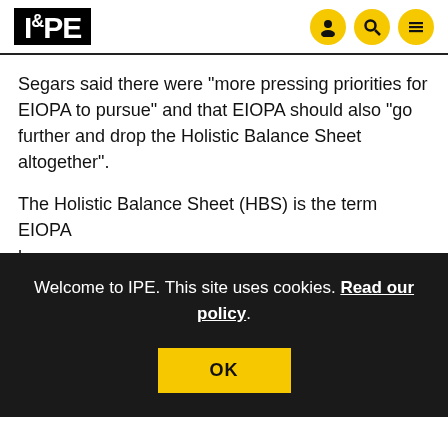IPE
Segars said there were “more pressing priorities for EIOPA to pursue” and that EIOPA should also “go further and drop the Holistic Balance Sheet altogether”.
The Holistic Balance Sheet (HBS) is the term EIOPA ha... of... ca... m... po...
[Figure (screenshot): Cookie consent overlay banner: 'Welcome to IPE. This site uses cookies. Read our policy.' with an OK button on a dark background.]